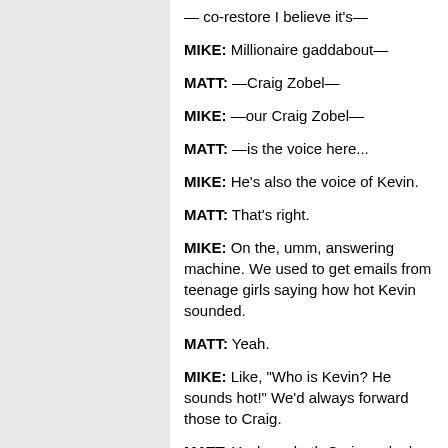— co-restore I believe it's—
MIKE: Millionaire gaddabout—
MATT: —Craig Zobel—
MIKE: —our Craig Zobel—
MATT: —is the voice here...
MIKE: He's also the voice of Kevin.
MATT: That's right.
MIKE: On the, umm, answering machine. We used to get emails from teenage girls saying how hot Kevin sounded.
MATT: Yeah.
MIKE: Like, "Who is Kevin? He sounds hot!" We'd always forward those to Craig.
MATT: Yeah, so both Craig and, uh, our friend Dan play, uh, Cherry Greg, different parts.
MIKE: Yeah, 'cause he plays him on the First